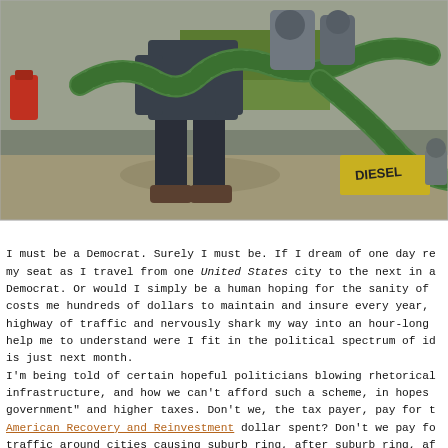[Figure (photo): A worker in dark work clothes and boots gripping a large green corrugated hose in an industrial/fuel setting. The word DIESEL is partially visible on yellow markings on the ground. Equipment and machinery visible in background.]
I must be a Democrat. Surely I must be. If I dream of one day re my seat as I travel from one United States city to the next in a Democrat. Or would I simply be a human hoping for the sanity of costs me hundreds of dollars to maintain and insure every year, highway of traffic and nervously shark my way into an hour-long help me to understand were I fit in the political spectrum of id is just next month.
I'm being told of certain hopeful politicians blowing rhetorical infrastructure, and how we can't afford such a scheme, in hopes government" and higher taxes. Don't we, the tax payer, pay for t American Recovery and Reinvestment dollar spent? Don't we pay fo traffic around cities causing suburb ring, after suburb ring, af